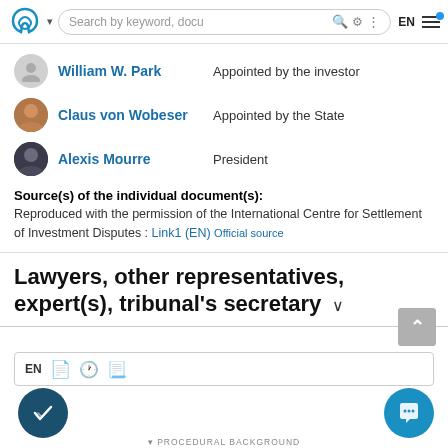Search by keyword, docu | EN
William W. Park — Appointed by the investor
Claus von Wobeser — Appointed by the State
Alexis Mourre — President
Source(s) of the individual document(s): Reproduced with the permission of the International Centre for Settlement of Investment Disputes : Link1 (EN) Official source
Lawyers, other representatives, expert(s), tribunal's secretary
EN [document icons]
PROCEDURAL BACKGROUND